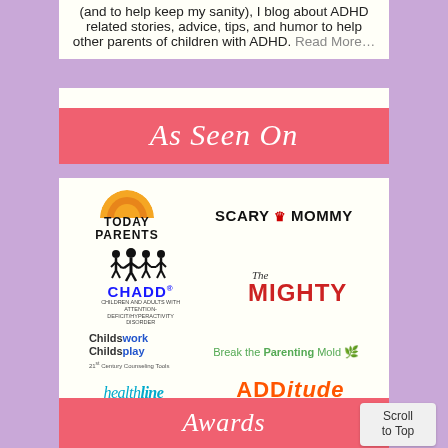(and to help keep my sanity), I blog about ADHD related stories, advice, tips, and humor to help other parents of children with ADHD. Read More…
As Seen On
[Figure (logo): Logos panel: Today Parents, Scary Mommy, CHADD, The Mighty, Childswork Childsplay, Break the Parenting Mold, healthline, ADDitude]
Awards
Scroll to Top